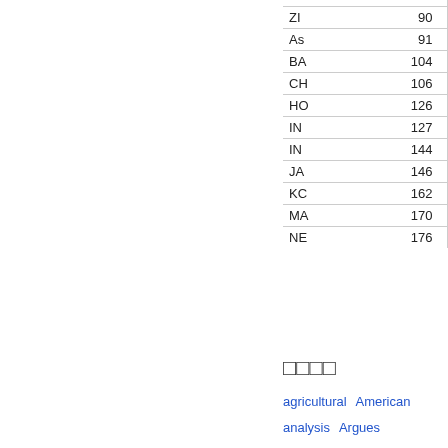| ZI | 90 | CC | 259 |
| As | 91 | PE | 260 |
| BA | 104 | VE | 262 |
| CH | 106 | No | 264 |
| HO | 126 | ME | 267 |
| IN | 127 | TH | 272 |
| IN | 144 | Au | 289 |
| JA | 146 | Co | 307 |
| KC | 162 | Su | 319 |
| MA | 170 | □□□ |  |
| NE | 176 |  |  |
□□□□
agricultural  American  analysis  Argues  Bangladesh  Bank